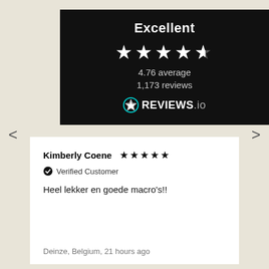Excellent
[Figure (other): Star rating display showing 4.76 out of 5 stars (4 full stars and 1 half star), with text '4.76 average' and '1,173 reviews', followed by REVIEWS.io logo on black background]
Kimberly Coene ★★★★★
✔ Verified Customer
Heel lekker en goede macro's!!
Deinze, Belgium, 21 hours ago